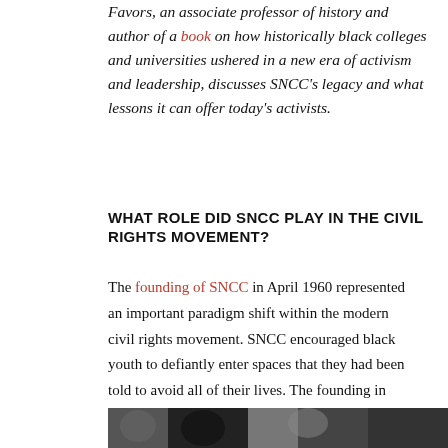Favors, an associate professor of history and author of a book on how historically black colleges and universities ushered in a new era of activism and leadership, discusses SNCC's legacy and what lessons it can offer today's activists.
WHAT ROLE DID SNCC PLAY IN THE CIVIL RIGHTS MOVEMENT?
The founding of SNCC in April 1960 represented an important paradigm shift within the modern civil rights movement. SNCC encouraged black youth to defiantly enter spaces that they had been told to avoid all of their lives. The founding in 1960 resulted in a wave of SNCC activists being sent into the most hostile environments to register voters and mobilize African Americans for change. In doing so, SNCC ushered in the direct action phase of the movement.
[Figure (photo): Partial black and white photograph of people, visible at the bottom of the page]